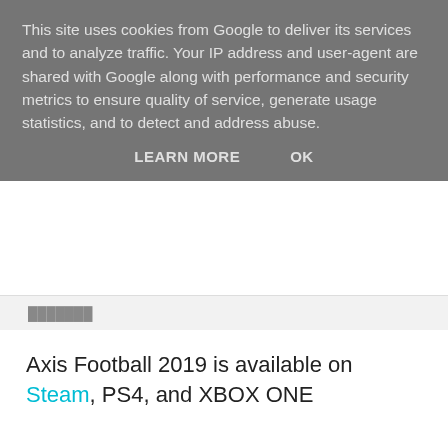This site uses cookies from Google to deliver its services and to analyze traffic. Your IP address and user-agent are shared with Google along with performance and security metrics to ensure quality of service, generate usage statistics, and to detect and address abuse.
LEARN MORE   OK
Axis Football 2019 is available on Steam, PS4, and XBOX ONE